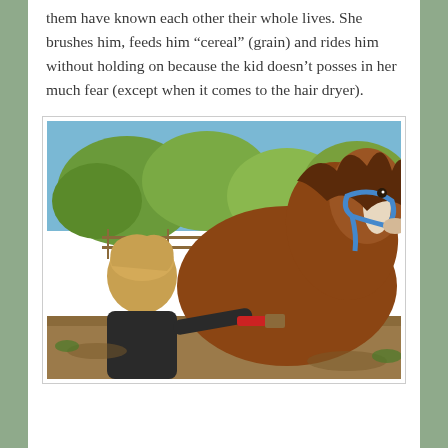them have known each other their whole lives. She brushes him, feeds him “cereal” (grain) and rides him without holding on because the kid doesn’t posses in her much fear (except when it comes to the hair dryer).
[Figure (photo): A young toddler with blonde hair, wearing a dark jacket, brushes a chestnut/brown horse with a white blaze and blue halter. The scene is outdoors with trees, blue sky, and a fence visible in the background.]